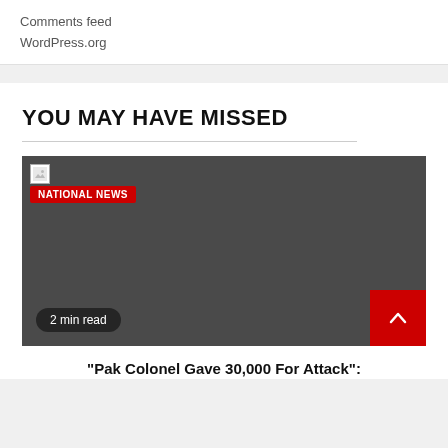Comments feed
WordPress.org
YOU MAY HAVE MISSED
[Figure (photo): Dark placeholder image with a broken image icon top-left, a red NATIONAL NEWS badge, a '2 min read' pill badge at bottom-left, and a red scroll-to-top button at bottom-right.]
“Pak Colonel Gave 30,000 For Attack”: